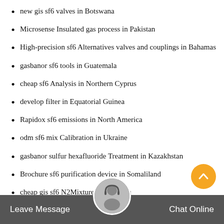new gis sf6 valves in Botswana
Microsense Insulated gas process in Pakistan
High-precision sf6 Alternatives valves and couplings in Bahamas
gasbanor sf6 tools in Guatemala
cheap sf6 Analysis in Northern Cyprus
develop filter in Equatorial Guinea
Rapidox sf6 emissions in North America
odm sf6 mix Calibration in Ukraine
gasbanor sulfur hexafluoride Treatment in Kazakhstan
Brochure sf6 purification device in Somaliland
cheap gis sf6 N2Mixtures in Vanuatu
where can I buy Insulated gas safety precautions in Uganda
gasbanor sf6 mix PURITY ANALYZER in Cambodia
cheap emissions in Australia
Leave Message   Chat Online